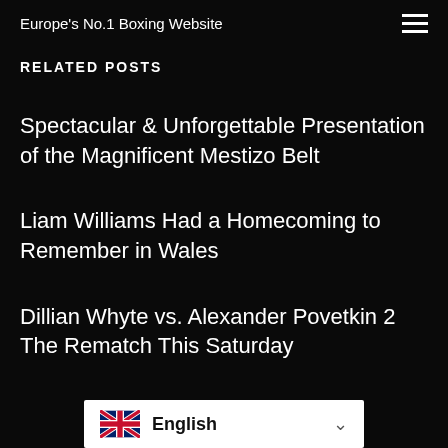Europe's No.1 Boxing Website
RELATED POSTS
Spectacular & Unforgettable Presentation of the Magnificent Mestizo Belt
Liam Williams Had a Homecoming to Remember in Wales
Dillian Whyte vs. Alexander Povetkin 2 The Rematch This Saturday
English